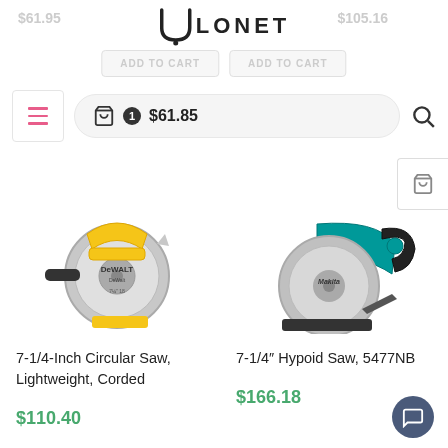ULONET - $61.85 cart
[Figure (photo): DeWalt 7-1/4-Inch Circular Saw product photo]
7-1/4-Inch Circular Saw, Lightweight, Corded
$110.40
[Figure (photo): Makita 7-1/4" Hypoid Saw 5477NB product photo]
7-1/4" Hypoid Saw, 5477NB
$166.18